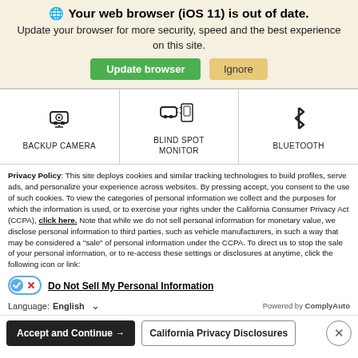Your web browser (iOS 11) is out of date.
Update your browser for more security, speed and the best experience on this site.
[Figure (infographic): Green 'Update browser' button and tan 'Ignore' button]
[Figure (infographic): Three feature icons in a row: Backup Camera (car icon), Blind Spot Monitor (car with phone icon), Bluetooth (bluetooth symbol)]
Privacy Policy: This site deploys cookies and similar tracking technologies to build profiles, serve ads, and personalize your experience across websites. By pressing accept, you consent to the use of such cookies. To view the categories of personal information we collect and the purposes for which the information is used, or to exercise your rights under the California Consumer Privacy Act (CCPA), click here. Note that while we do not sell personal information for monetary value, we disclose personal information to third parties, such as vehicle manufacturers, in such a way that may be considered a "sale" of personal information under the CCPA. To direct us to stop the sale of your personal information, or to re-access these settings or disclosures at anytime, click the following icon or link:
Do Not Sell My Personal Information
Language: English
Powered by ComplyAuto
Accept and Continue →
California Privacy Disclosures